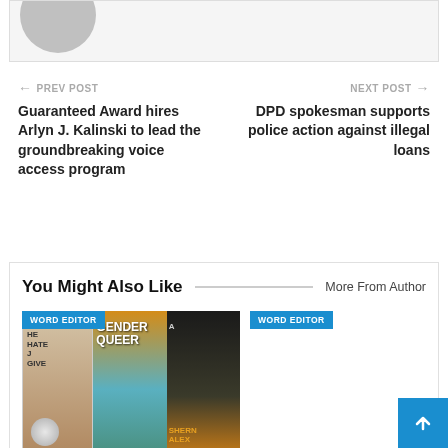[Figure (photo): Partial view of a user profile card with avatar placeholder (gray circle) at top]
← PREV POST
Guaranteed Award hires Arlyn J. Kalinski to lead the groundbreaking voice access program
NEXT POST →
DPD spokesman supports police action against illegal loans
You Might Also Like
More From Author
WORD EDITOR
[Figure (photo): Three book covers shown side by side: first book with human legs and coin, second is 'Gender Queer', third is a novel by Shern Alex]
WORD EDITOR
[Figure (illustration): Blue scroll-to-top button with upward arrow in bottom right corner]